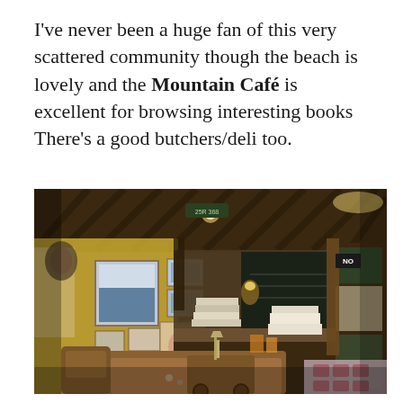I've never been a huge fan of this very scattered community though the beach is lovely and the Mountain Café is excellent for browsing interesting books There's a good butchers/deli too.
[Figure (photo): Interior of the Mountain Café showing wooden ceiling with diagonal slats, walls covered with photographs and posters, bookshelves, a counter area, wooden furniture including chairs and a table with stacked books, warm ambient lighting from wall sconces and overhead lights.]